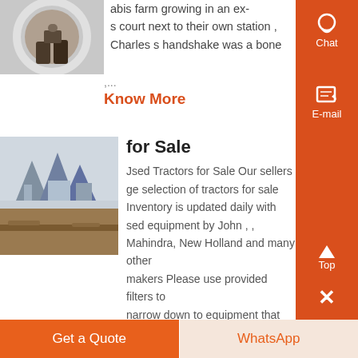[Figure (photo): Circular mirror or ring light showing hands/person reflected, top-left area]
abis farm growing in an ex- s court next to their own station , Charles s handshake was a bone ,...
Know More
[Figure (photo): Outdoor photo of industrial or farm equipment/machinery structures]
for Sale
Used Tractors for Sale Our sellers ge selection of tractors for sale Inventory is updated daily with sed equipment by John , , Mahindra, New Holland and many other makers Please use provided filters to narrow down to equipment that fits your needs, and use Local Sellers feature to find
Get a Quote
WhatsApp